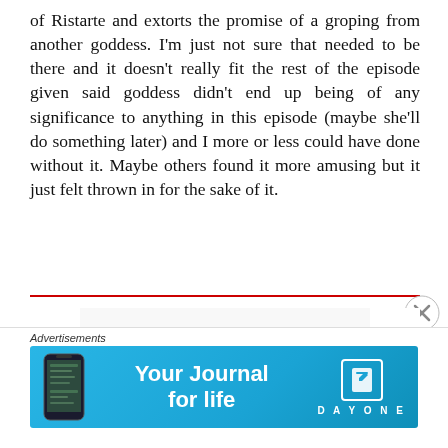of Ristarte and extorts the promise of a groping from another goddess. I'm just not sure that needed to be there and it doesn't really fit the rest of the episode given said goddess didn't end up being of any significance to anything in this episode (maybe she'll do something later) and I more or less could have done without it. Maybe others found it more amusing but it just felt thrown in for the sake of it.
[Figure (illustration): Anime figure/figurine of a dark-haired female character in a red dress with long flowing black hair, cropped at the bottom]
Advertisements
[Figure (screenshot): Advertisement banner: 'Your Journal for life' - Day One app advertisement with teal/blue background, phone mockup on left, Day One logo on right]